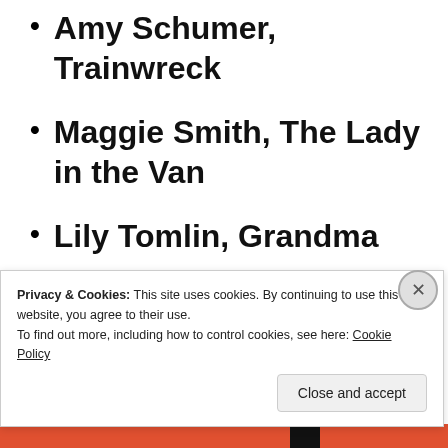Amy Schumer, Trainwreck
Maggie Smith, The Lady in the Van
Lily Tomlin, Grandma
My Pick: Lily Tomlin
Privacy & Cookies: This site uses cookies. By continuing to use this website, you agree to their use.
To find out more, including how to control cookies, see here: Cookie Policy
Close and accept